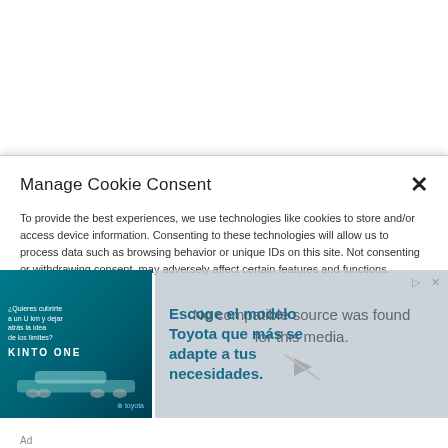Manage Cookie Consent
To provide the best experiences, we use technologies like cookies to store and/or access device information. Consenting to these technologies will allow us to process data such as browsing behavior or unique IDs on this site. Not consenting or withdrawing consent, may adversely affect certain features and functions.
[Figure (screenshot): Toyota KINTO ONE advertisement banner with teal background showing car silhouettes and Spanish text 'Escoge el modelo Toyota que más se adapte a tus necesidades.']
Ad